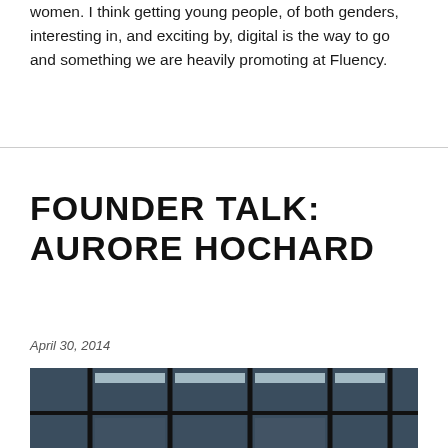women. I think getting young people, of both genders, interesting in, and exciting by, digital is the way to go and something we are heavily promoting at Fluency.
FOUNDER TALK: AURORE HOCHARD
April 30, 2014
[Figure (photo): Portrait photo of a woman with short dark hair and bangs, standing in front of a large glass window/wall with a building interior visible behind her showing ceiling lights and colored accents.]